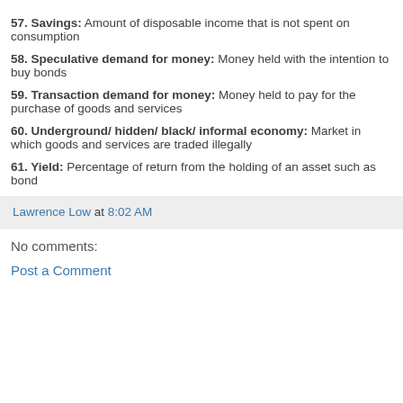57. Savings: Amount of disposable income that is not spent on consumption
58. Speculative demand for money: Money held with the intention to buy bonds
59. Transaction demand for money: Money held to pay for the purchase of goods and services
60. Underground/ hidden/ black/ informal economy: Market in which goods and services are traded illegally
61. Yield: Percentage of return from the holding of an asset such as bond
Lawrence Low at 8:02 AM
No comments:
Post a Comment